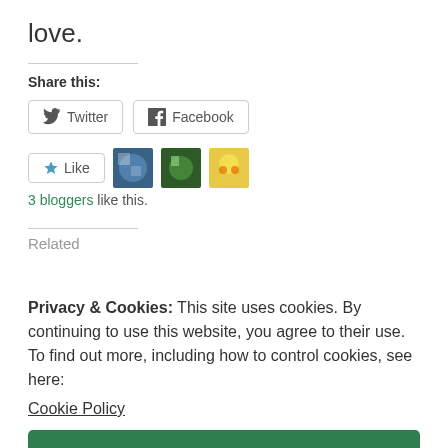love.
Share this:
[Figure (screenshot): Twitter and Facebook share buttons]
[Figure (screenshot): Like button with 3 blogger avatars]
3 bloggers like this.
Related
Privacy & Cookies: This site uses cookies. By continuing to use this website, you agree to their use.
To find out more, including how to control cookies, see here: Cookie Policy
Close and accept